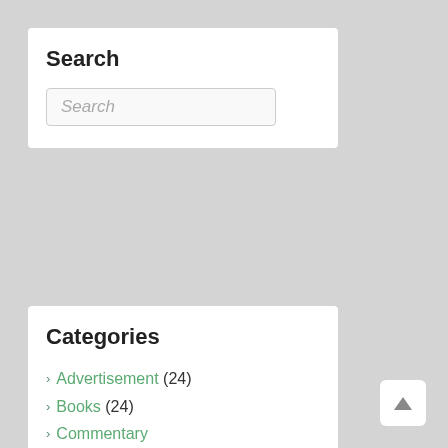Search
Search
Categories
Advertisement (24)
Books (24)
Commentary (446)
Electric Vehicles (26)
Family (187)
Fantasy Sports (146)
Food (72)